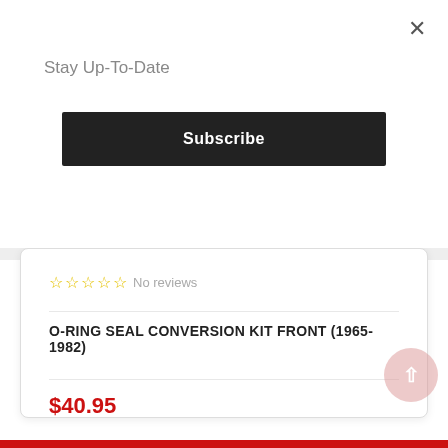×
Stay Up-To-Date
Subscribe
☆☆☆☆☆ No reviews
O-RING SEAL CONVERSION KIT FRONT (1965-1982)
$40.95
ADD TO CART